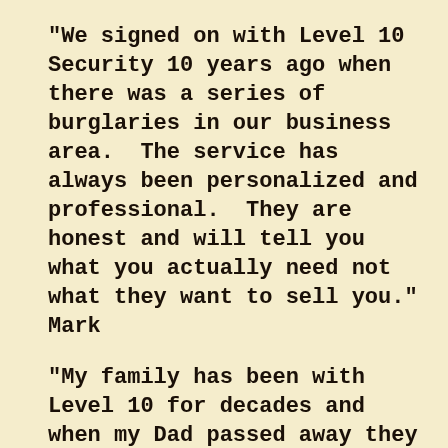"We signed on with Level 10 Security 10 years ago when there was a series of burglaries in our business area.  The service has always been personalized and professional.  They are honest and will tell you what you actually need not what they want to sell you." Mark
"My family has been with Level 10 for decades and when my Dad passed away they handled the transition with empathy and respect, helping my Mom to understand the aspects of the system that my Dad had always done." Latisha